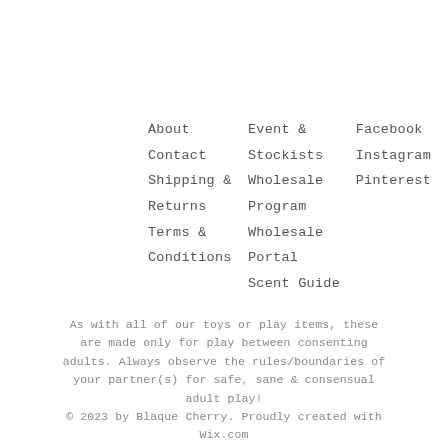About
Contact
Shipping &
Returns
Terms &
Conditions
Event &
Stockists
Wholesale
Program
Wholesale
Portal
Scent Guide
Facebook
Instagram
Pinterest
As with all of our toys or play items, these are made only for play between consenting adults. Always observe the rules/boundaries of your partner(s) for safe, sane & consensual adult play! © 2023 by Blaque Cherry. Proudly created with Wix.com